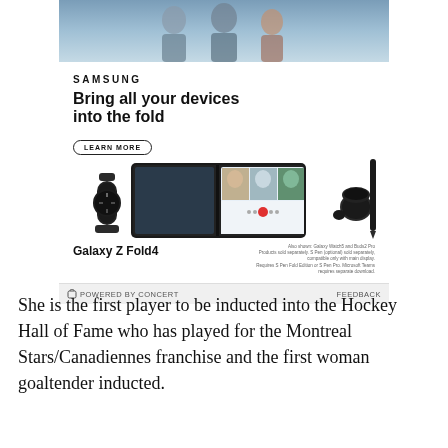[Figure (photo): Samsung advertisement for Galaxy Z Fold4 showing the device along with Galaxy Watch5 and Buds2 Pro. Ad headline reads 'Bring all your devices into the fold' with a LEARN MORE button. Shows people on a video call on the foldable phone screen.]
She is the first player to be inducted into the Hockey Hall of Fame who has played for the Montreal Stars/Canadiennes franchise and the first woman goaltender inducted.